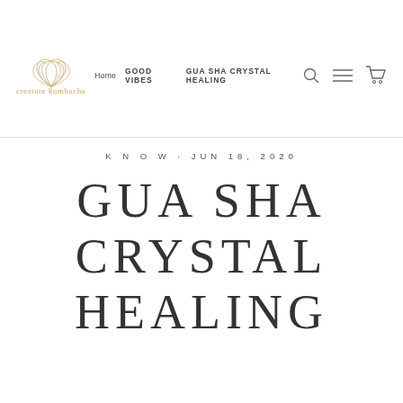[Figure (logo): Creature Kombucha lotus flower logo with cursive brand name in gold]
Home   GOOD VIBES   GUA SHA CRYSTAL HEALING
K N O W · JUN 18, 2020
GUA SHA CRYSTAL HEALING